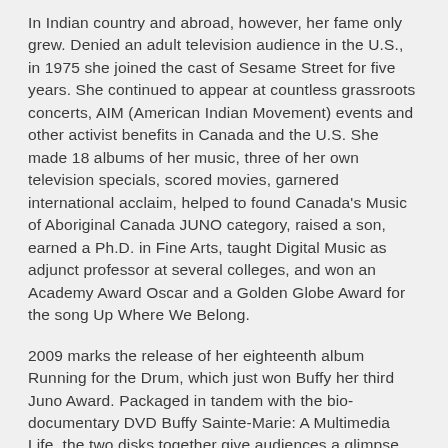In Indian country and abroad, however, her fame only grew. Denied an adult television audience in the U.S., in 1975 she joined the cast of Sesame Street for five years. She continued to appear at countless grassroots concerts, AIM (American Indian Movement) events and other activist benefits in Canada and the U.S. She made 18 albums of her music, three of her own television specials, scored movies, garnered international acclaim, helped to found Canada's Music of Aboriginal Canada JUNO category, raised a son, earned a Ph.D. in Fine Arts, taught Digital Music as adjunct professor at several colleges, and won an Academy Award Oscar and a Golden Globe Award for the song Up Where We Belong.
2009 marks the release of her eighteenth album Running for the Drum, which just won Buffy her third Juno Award. Packaged in tandem with the bio-documentary DVD Buffy Sainte-Marie: A Multimedia Life, the two disks together give audiences a glimpse into the life and work of this unique, always current artist.
Born on a Cree reservation in Qu'Appelle Valley, Saskatchewan, Buffy Sainte-Marie was adopted and raised in Maine and Massachusetts. She